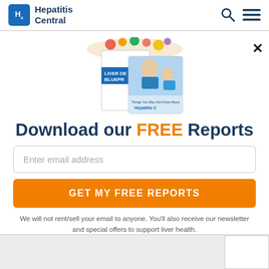Hepatitis Central
[Figure (screenshot): Promotional book covers: 'The Liver Detox Blueprint' and a booklet about hepatitis, with fruit and a couple in background]
Download our FREE Reports
Enter email address
GET MY FREE REPORTS
We will not rent/sell your email to anyone. You'll also receive our newsletter and special offers to support liver health.